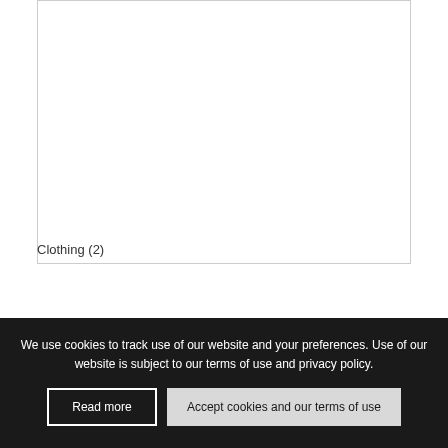[Figure (other): Product card area, white rectangle with border, mostly empty/blank]
Clothing (2)
We use cookies to track use of our website and your preferences. Use of our website is subject to our terms of use and privacy policy.
Read more
Accept cookies and our terms of use